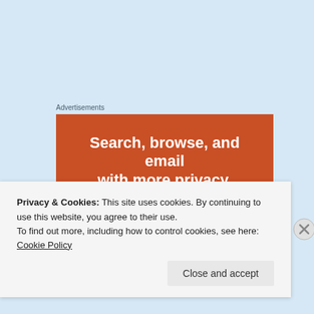Advertisements
[Figure (illustration): Advertisement banner with orange background showing text 'Search, browse, and email with more privacy. All in One Free App' with a smartphone graphic below.]
Privacy & Cookies: This site uses cookies. By continuing to use this website, you agree to their use.
To find out more, including how to control cookies, see here: Cookie Policy
Close and accept